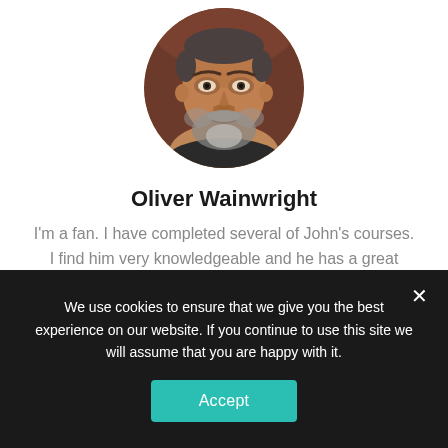[Figure (photo): Circular cropped portrait photo of a middle-aged man with a short beard, seated in a brown leather chair, looking at the camera.]
Oliver Wainwright
I'm a fan. I have completed several of John's courses. I find him very knowledgeable and he has a great delivery.
We use cookies to ensure that we give you the best experience on our website. If you continue to use this site we will assume that you are happy with it.